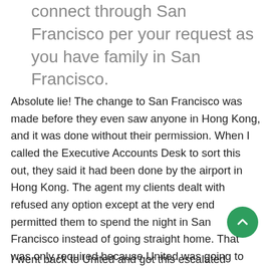connect through San Francisco per your request as you have family in San Francisco.
Absolute lie! The change to San Francisco was made before they even saw anyone in Hong Kong, and it was done without their permission. When I called the Executive Accounts Desk to sort this out, they said it had been done by the airport in Hong Kong. The agent my clients dealt with refused any option except at the very end permitted them to spend the night in San Francisco instead of going straight home. That was only required because United was going to get them in so late, not because they really wanted to stay there.
I went back to United and got this escalated further.